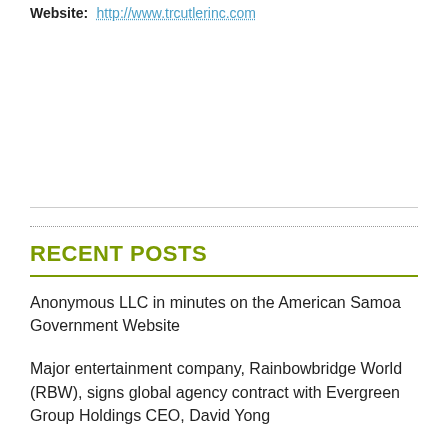Website: http://www.trcutlerinc.com
RECENT POSTS
Anonymous LLC in minutes on the American Samoa Government Website
Major entertainment company, Rainbowbridge World (RBW), signs global agency contract with Evergreen Group Holdings CEO, David Yong